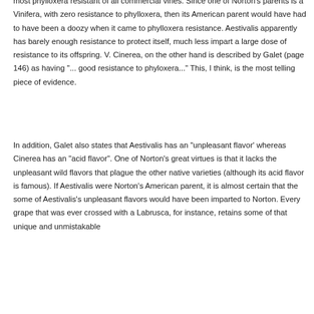most phylloxera resistant of all commercial vines. Since one of Norton's parents is a Vinifera, with zero resistance to phylloxera, then its American parent would have had to have been a doozy when it came to phylloxera resistance. Aestivalis apparently has barely enough resistance to protect itself, much less impart a large dose of resistance to its offspring. V. Cinerea, on the other hand is described by Galet (page 146) as having "... good resistance to phyloxera..." This, I think, is the most telling piece of evidence.
In addition, Galet also states that Aestivalis has an "unpleasant flavor' whereas Cinerea has an "acid flavor". One of Norton's great virtues is that it lacks the unpleasant wild flavors that plague the other native varieties (although its acid flavor is famous). If Aestivalis were Norton's American parent, it is almost certain that the some of Aestivalis's unpleasant flavors would have been imparted to Norton. Every grape that was ever crossed with a Labrusca, for instance, retains some of that unique and unmistakable